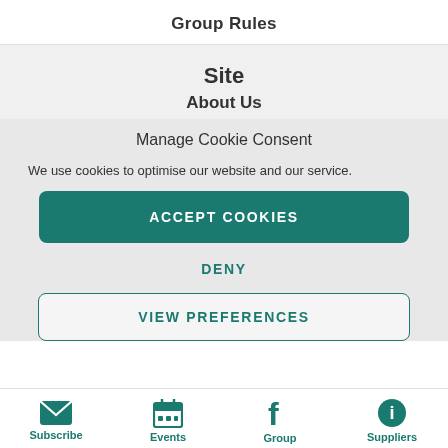Group Rules
Site
About Us
Manage Cookie Consent
We use cookies to optimise our website and our service.
ACCEPT COOKIES
DENY
VIEW PREFERENCES
Subscribe   Events   Group   Suppliers